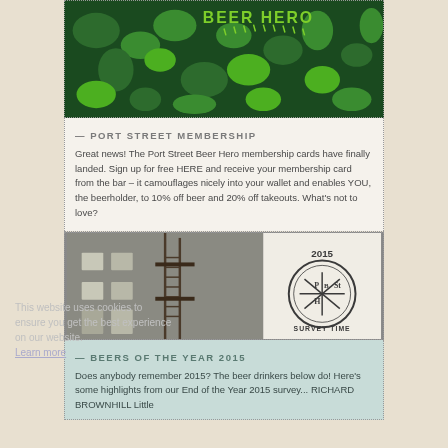[Figure (illustration): Beer Hero graphic: dark green camouflage-style background with bright green blob shapes and 'BEER HERO' text in green at top right]
— PORT STREET MEMBERSHIP
Great news! The Port Street Beer Hero membership cards have finally landed. Sign up for free HERE and receive your membership card from the bar – it camouflages nicely into your wallet and enables YOU, the beerholder, to 10% off beer and 20% off takeouts. What's not to love?
[Figure (photo): Photo of a grey concrete building with fire escape stairs on the left side, and on the right a circular stamp logo reading '2015 P B St H SURVEY TIME']
— BEERS OF THE YEAR 2015
Does anybody remember 2015? The beer drinkers below do! Here's some highlights from our End of the Year 2015 survey... RICHARD BROWNHILL Little